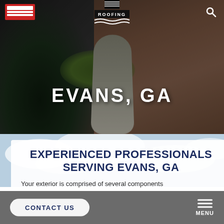[Figure (screenshot): Mobile website screenshot showing aerial roofing photo background with navigation bar containing roofing company logo at center and search icon at right]
EVANS, GA
[Figure (photo): Background photo of cloudy sky for lower content section]
EXPERIENCED PROFESSIONALS SERVING EVANS, GA
Your exterior is comprised of several components
CONTACT US | MENU